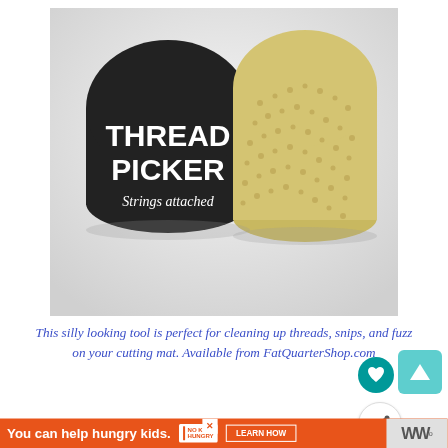[Figure (photo): Two Thread Picker tools side by side — one black rounded foam shape with white text reading 'THREAD PICKER Strings attached', and one cream/yellow textured foam sponge-like puck, both shown against a light grey/white background.]
This silly looking tool is perfect for cleaning up threads, snips, and fuzz on your cutting mat. Available from FatQuarterShop.com
[Figure (other): UI buttons: a teal circular heart/save button, a teal square with white triangle (up arrow) button, and a white circular share button with share icon and plus sign.]
You can help hungry kids. NO KID HUNGRY LEARN HOW